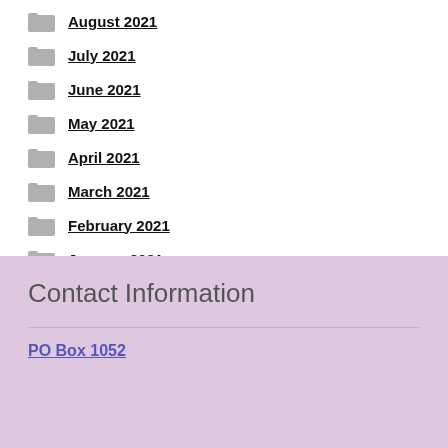August 2021
July 2021
June 2021
May 2021
April 2021
March 2021
February 2021
January 2021
Contact Information
PO Box 1052